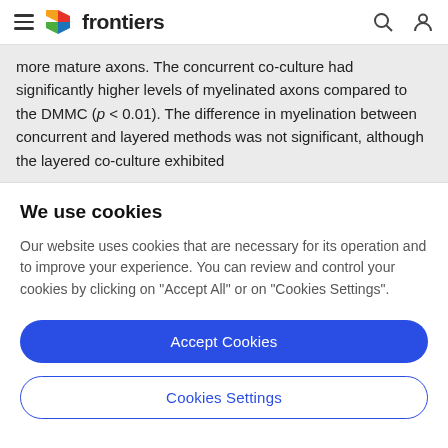frontiers
more mature axons. The concurrent co-culture had significantly higher levels of myelinated axons compared to the DMMC (p < 0.01). The difference in myelination between concurrent and layered methods was not significant, although the layered co-culture exhibited
We use cookies
Our website uses cookies that are necessary for its operation and to improve your experience. You can review and control your cookies by clicking on "Accept All" or on "Cookies Settings".
Accept Cookies
Cookies Settings